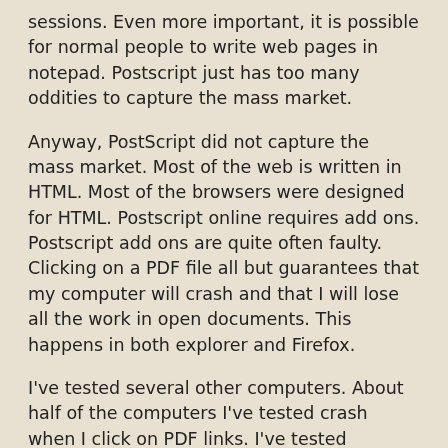sessions. Even more important, it is possible for normal people to write web pages in notepad. Postscript just has too many oddities to capture the mass market.
Anyway, PostScript did not capture the mass market. Most of the web is written in HTML. Most of the browsers were designed for HTML. Postscript online requires add ons. Postscript add ons are quite often faulty. Clicking on a PDF file all but guarantees that my computer will crash and that I will lose all the work in open documents. This happens in both explorer and Firefox.
I've tested several other computers. About half of the computers I've tested crash when I click on PDF links. I've tested computers at local libraries. I know a person who bought a brand new computer. It crashed when I clicked on PDF links. I would not be surprised if 30% of the computers crash whenever someone clicks on a PDF.
Which brings me to my rant. I hate when people use navigation structures that mask the name and type of file in a link. I avoid PDF files like the plague. Invariably, however,